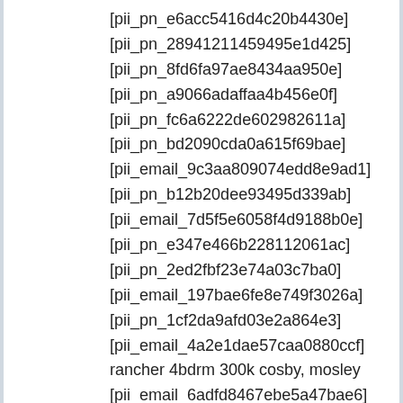[pii_pn_e6acc5416d4c20b4430e]
[pii_pn_28941211459495e1d425]
[pii_pn_8fd6fa97ae8434aa950e]
[pii_pn_a9066adaffaa4b456e0f]
[pii_pn_fc6a6222de602982611a]
[pii_pn_bd2090cda0a615f69bae]
[pii_email_9c3aa809074edd8e9ad1]
[pii_pn_b12b20dee93495d339ab]
[pii_email_7d5f5e6058f4d9188b0e]
[pii_pn_e347e466b228112061ac]
[pii_pn_2ed2fbf23e74a03c7ba0]
[pii_email_197bae6fe8e749f3026a]
[pii_pn_1cf2da9afd03e2a864e3]
[pii_email_4a2e1dae57caa0880ccf]
rancher 4bdrm 300k cosby, mosley
[pii_email_6adfd8467ebe5a47bae6] andrea rowlins
[pii_pn_e645e222226e4b5e8aeb]